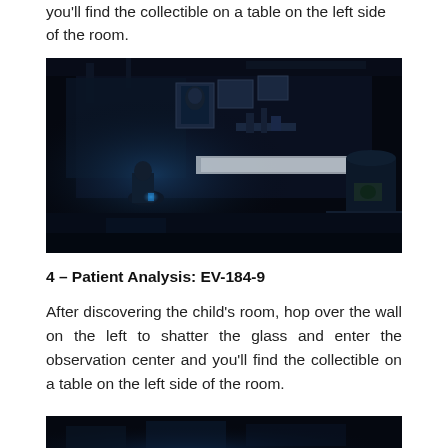you'll find the collectible on a table on the left side of the room.
[Figure (photo): Dark screenshot from a horror video game showing a dimly lit medical/laboratory room with blue ambient lighting, a figure crouching in the foreground, medical tables with white sheets, equipment, and x-ray images on the wall]
4 – Patient Analysis: EV-184-9
After discovering the child's room, hop over the wall on the left to shatter the glass and enter the observation center and you'll find the collectible on a table on the left side of the room.
[Figure (photo): Partial dark screenshot from a horror video game, bottom portion visible showing a dimly lit scene with blue tones]